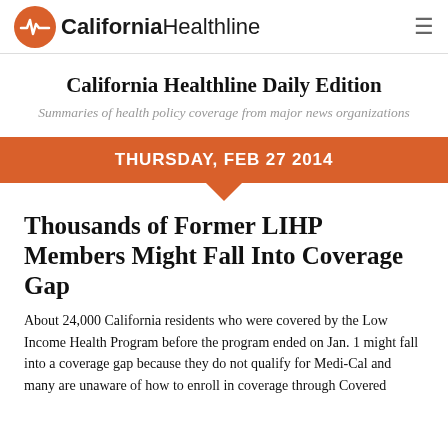California Healthline
California Healthline Daily Edition
Summaries of health policy coverage from major news organizations
THURSDAY, FEB 27 2014
Thousands of Former LIHP Members Might Fall Into Coverage Gap
About 24,000 California residents who were covered by the Low Income Health Program before the program ended on Jan. 1 might fall into a coverage gap because they do not qualify for Medi-Cal and many are unaware of how to enroll in coverage through Covered